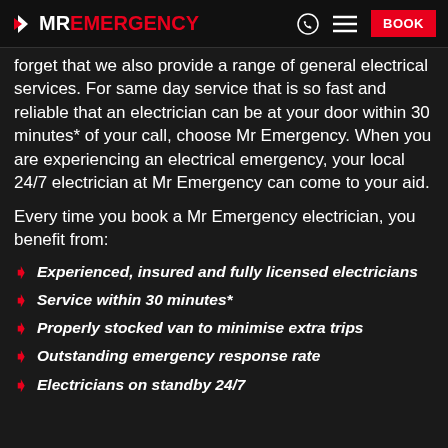MR EMERGENCY | BOOK
forget that we also provide a range of general electrical services. For same day service that is so fast and reliable that an electrician can be at your door within 30 minutes* of your call, choose Mr Emergency. When you are experiencing an electrical emergency, your local 24/7 electrician at Mr Emergency can come to your aid.
Every time you book a Mr Emergency electrician, you benefit from:
Experienced, insured and fully licensed electricians
Service within 30 minutes*
Properly stocked van to minimise extra trips
Outstanding emergency response rate
Electricians on standby 24/7